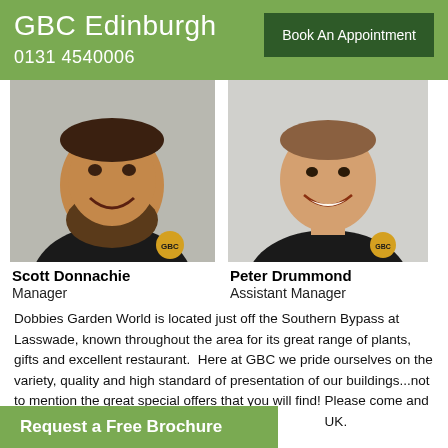GBC Edinburgh  0131 4540006  Book An Appointment
[Figure (photo): Headshot photo of Scott Donnachie, a bearded man in a black polo shirt with GBC logo]
Scott Donnachie
Manager
[Figure (photo): Headshot photo of Peter Drummond, a young man in a black jacket with GBC logo]
Peter Drummond
Assistant Manager
Dobbies Garden World is located just off the Southern Bypass at Lasswade, known throughout the area for its great range of plants, gifts and excellent restaurant.  Here at GBC we pride ourselves on the variety, quality and high standard of presentation of our buildings...not to mention the great special offers that you will find! Please come and take the opportunity to v...UK.
Request a Free Brochure